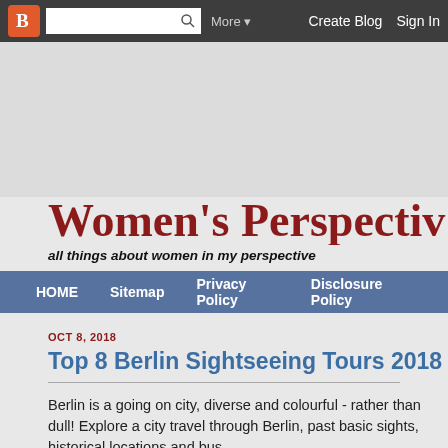Blogger | More ▼ | Create Blog | Sign In
Women's Perspective
all things about women in my perspective
HOME | Sitemap | Privacy Policy | Disclosure Policy
OCT 8, 2018
Top 8 Berlin Sightseeing Tours 2018
Berlin is a going on city, diverse and colourful - rather than dull! Explore a city travel through Berlin, past basic sights, historical locations and bus...